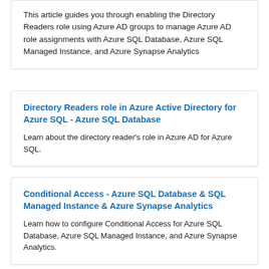This article guides you through enabling the Directory Readers role using Azure AD groups to manage Azure AD role assignments with Azure SQL Database, Azure SQL Managed Instance, and Azure Synapse Analytics
Directory Readers role in Azure Active Directory for Azure SQL - Azure SQL Database
Learn about the directory reader's role in Azure AD for Azure SQL.
Conditional Access - Azure SQL Database & SQL Managed Instance & Azure Synapse Analytics
Learn how to configure Conditional Access for Azure SQL Database, Azure SQL Managed Instance, and Azure Synapse Analytics.
User-assigned managed identity in Azure AD for Azure SQL - Azure SQL Database & Azure SQL